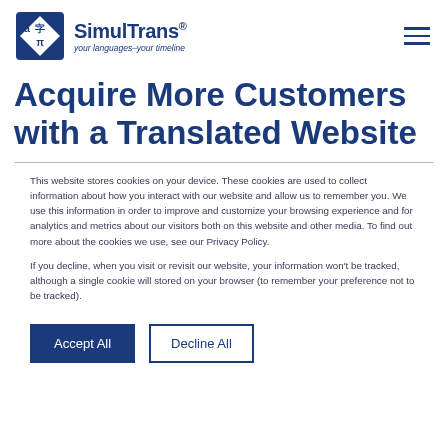[Figure (logo): SimulTrans logo with diamond icon containing letters a, pi, and a Chinese character, with tagline 'your languages–your timeline']
Acquire More Customers with a Translated Website
This website stores cookies on your device. These cookies are used to collect information about how you interact with our website and allow us to remember you. We use this information in order to improve and customize your browsing experience and for analytics and metrics about our visitors both on this website and other media. To find out more about the cookies we use, see our Privacy Policy.
If you decline, when you visit or revisit our website, your information won't be tracked, although a single cookie will stored on your browser (to remember your preference not to be tracked).